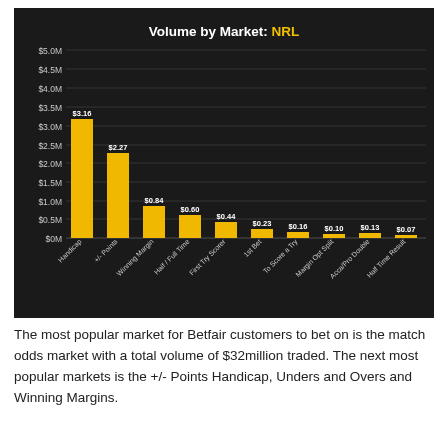[Figure (bar-chart): Volume by Market: NRL]
The most popular market for Betfair customers to bet on is the match odds market with a total volume of $32million traded. The next most popular markets is the +/- Points Handicap, Unders and Overs and Winning Margins.